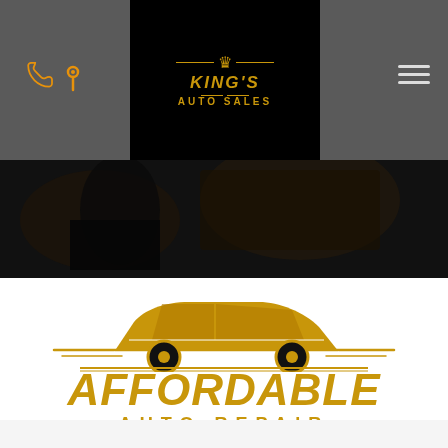[Figure (logo): King's Auto Sales logo — gold crown and text on black background, centered in header]
[Figure (photo): Dark background photo of mechanic working under a car]
[Figure (logo): Affordable Auto Repair logo — gold muscle car silhouette with italic AFFORDABLE text and AUTO REPAIR subtitle]